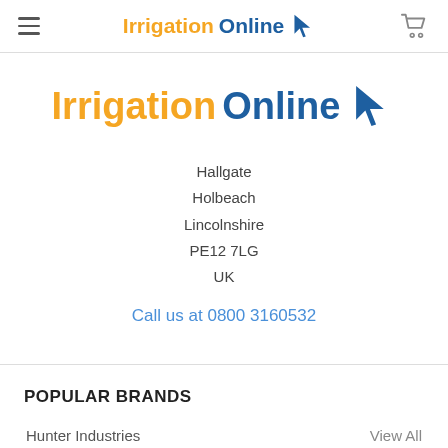Irrigation Online — navigation header with hamburger menu and cart icon
[Figure (logo): Irrigation Online logo with orange 'Irrigation' text, blue 'Online' text, and blue cursor arrow icon — large centered version]
Hallgate
Holbeach
Lincolnshire
PE12 7LG
UK
Call us at 0800 3160532
POPULAR BRANDS
Hunter Industries
View All